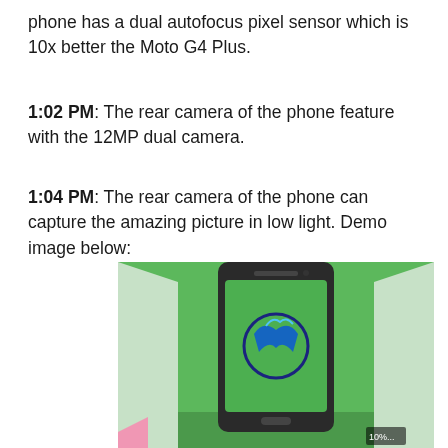phone has a dual autofocus pixel sensor which is 10x better the Moto G4 Plus.
1:02 PM: The rear camera of the phone feature with the 12MP dual camera.
1:04 PM: The rear camera of the phone can capture the amazing picture in low light. Demo image below:
[Figure (photo): A smartphone (Motorola) placed upright against a green cardboard background, displaying the Motorola logo (stylized M) on its screen against a green background. The phone has a dark/black finish. The setup appears to be a demo display.]